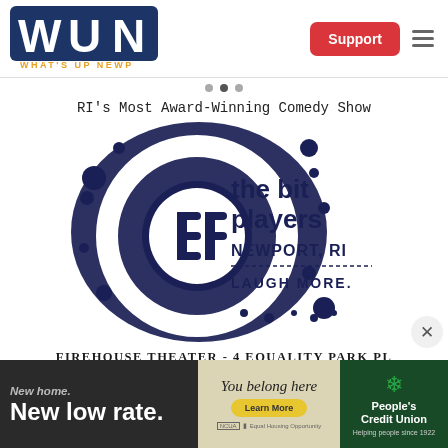[Figure (logo): WUN - What's Up Newp logo in navy blue block letters on white background]
[Figure (other): Red Support button and hamburger menu icon in header]
[Figure (illustration): The Bit Players Newport RI comedy show logo - navy blue ink splatter with circular BP monogram and text 'the bit players NEWPORT, RI LAUGH MORE.']
RI's Most Award-Winning Comedy Show
FIREHOUSE THEATER - 4 EQUALITY PARK PL
Shows EVERY Friday @ 8PM and
Saturday @ 7PM & 9PM (Always BYOB)
[Figure (infographic): People's Credit Union advertisement - New home. New low rate. You belong here. Learn More. Helping people since 1922.]